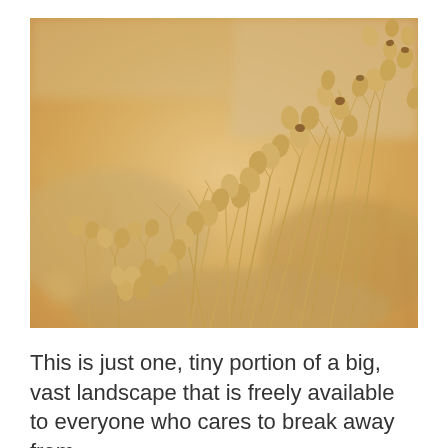[Figure (photo): Close-up photograph of dried desert plants with small seed pods on thin branching stems, in warm golden-tan tones with a blurred sandy background.]
This is just one, tiny portion of a big, vast landscape that is freely available to everyone who cares to break away from